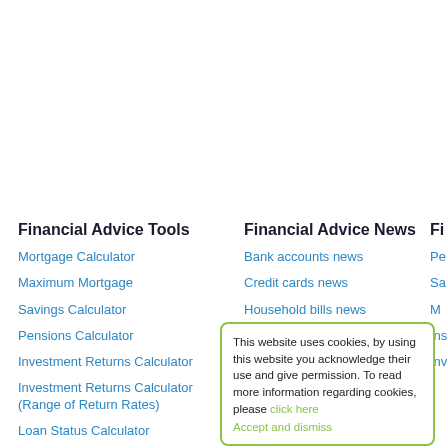Financial Advice Tools
Mortgage Calculator
Maximum Mortgage
Savings Calculator
Pensions Calculator
Investment Returns Calculator
Investment Returns Calculator (Range of Return Rates)
Loan Status Calculator
Financial Advice News
Bank accounts news
Credit cards news
Household bills news
Insurance news
Investments news
Fi
Pe
Sa
M
Ins
Inv
This website uses cookies, by using this website you acknowledge their use and give permission. To read more information regarding cookies, please click here
Accept and dismiss